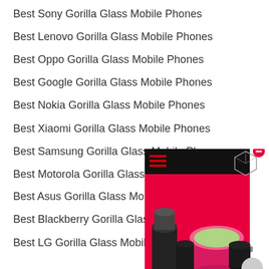Best Sony Gorilla Glass Mobile Phones
Best Lenovo Gorilla Glass Mobile Phones
Best Oppo Gorilla Glass Mobile Phones
Best Google Gorilla Glass Mobile Phones
Best Nokia Gorilla Glass Mobile Phones
Best Xiaomi Gorilla Glass Mobile Phones
Best Samsung Gorilla Glass Mobile Phones
Best Motorola Gorilla Glass Mobile Phones
Best Asus Gorilla Glass Mobile Phones
Best Blackberry Gorilla Glass Mobile Phones
Best LG Gorilla Glass Mobile Phones
[Figure (photo): Advertisement showing kitchen appliances (blender, rice cooker) on a red background with a black top bar and a 3D box icon with a red minus button]